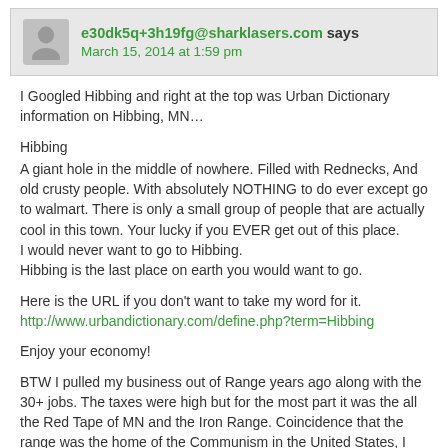e30dk5q+3h19fg@sharklasers.com says
March 15, 2014 at 1:59 pm
I Googled Hibbing and right at the top was Urban Dictionary information on Hibbing, MN…
Hibbing
A giant hole in the middle of nowhere. Filled with Rednecks, And old crusty people. With absolutely NOTHING to do ever except go to walmart. There is only a small group of people that are actually cool in this town. Your lucky if you EVER get out of this place.
I would never want to go to Hibbing.
Hibbing is the last place on earth you would want to go.
Here is the URL if you don't want to take my word for it.
http://www.urbandictionary.com/define.php?term=Hibbing
Enjoy your economy!
BTW I pulled my business out of Range years ago along with the 30+ jobs. The taxes were high but for the most part it was the all the Red Tape of MN and the Iron Range. Coincidence that the range was the home of the Communism in the United States, I think not. My business is doing better than ever since the move!